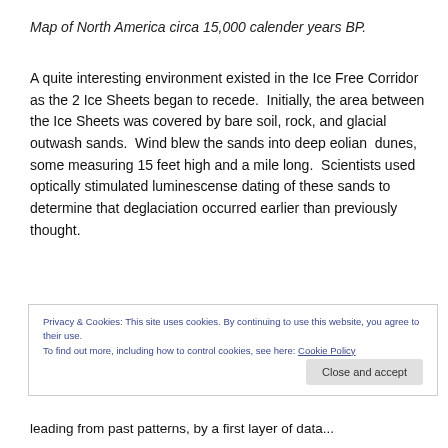Map of North America circa 15,000 calender years BP.
A quite interesting environment existed in the Ice Free Corridor as the 2 Ice Sheets began to recede.  Initially, the area between the Ice Sheets was covered by bare soil, rock, and glacial outwash sands.  Wind blew the sands into deep eolian  dunes, some measuring 15 feet high and a mile long.  Scientists used optically stimulated luminescense dating of these sands to determine that deglaciation occurred earlier than previously thought.
Privacy & Cookies: This site uses cookies. By continuing to use this website, you agree to their use.
To find out more, including how to control cookies, see here: Cookie Policy
leading from past patterns, by a first layer of data...